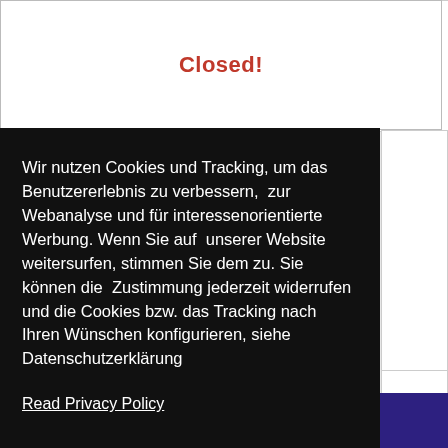Closed!
Wir nutzen Cookies und Tracking, um das Benutzererlebnis zu verbessern,  zur Webanalyse und für interessenorientierte Werbung. Wenn Sie auf  unserer Website weitersurfen, stimmen Sie dem zu. Sie können die  Zustimmung jederzeit widerrufen und die Cookies bzw. das Tracking nach  Ihren Wünschen konfigurieren, siehe Datenschutzerklärung
Read Privacy Policy
Got It!